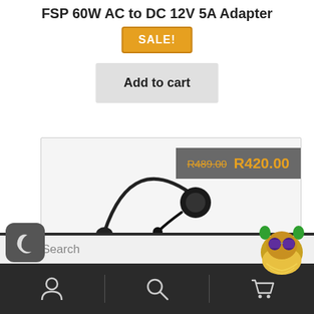FSP 60W AC to DC 12V 5A Adapter
SALE!
Add to cart
[Figure (photo): Bluetooth headset product image with price overlay showing old price R489.00 struck through and new price R420.00 on a grey background banner]
Search
[Figure (logo): Dark mode moon icon button (rounded square)]
[Figure (logo): Owl mascot logo with sunglasses, green ears, yellow beard]
[Figure (illustration): Person/user account icon]
[Figure (illustration): Search/magnifying glass icon]
[Figure (illustration): Shopping cart icon]